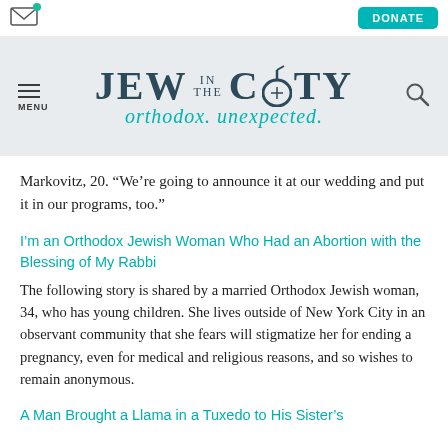[Figure (screenshot): Website header with email icon, donate button, Jew in the City logo with 'orthodox. unexpected.' tagline, menu icon and search icon]
Markovitz, 20. “We’re going to announce it at our wedding and put it in our programs, too.”
I’m an Orthodox Jewish Woman Who Had an Abortion with the Blessing of My Rabbi
The following story is shared by a married Orthodox Jewish woman, 34, who has young children. She lives outside of New York City in an observant community that she fears will stigmatize her for ending a pregnancy, even for medical and religious reasons, and so wishes to remain anonymous.
A Man Brought a Llama in a Tuxedo to His Sister’s